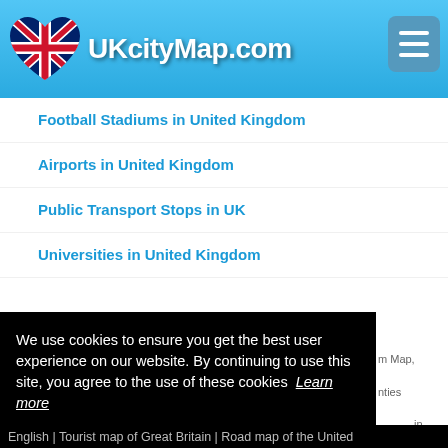UKcityMap.com
Football Stadiums in United Kingdom
Airports in United Kingdom
Public Transport Stops in UK
Universities in United Kingdom
We use cookies to ensure you get the best user experience on our website. By continuing to use this site, you agree to the use of these cookies Learn more
Got it!
English | Tourist map of Great Britain | Road map of the United